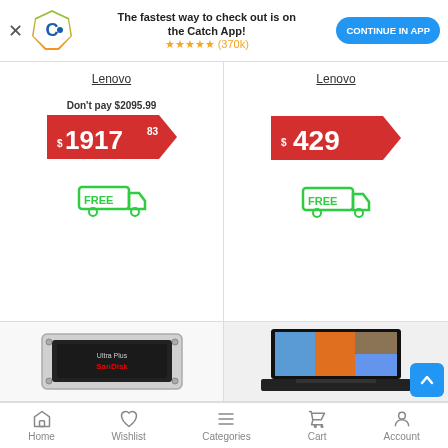[Figure (screenshot): App promotion banner with Catch.com.au logo, text 'The fastest way to check out is on the Catch App!', 5 star rating with (370k) reviews, and 'CONTINUE IN APP' blue button]
Lenovo
Don't pay $2095.99
$1917.83
[Figure (illustration): Free shipping truck icon in green]
Lenovo
$429
[Figure (illustration): Free shipping truck icon in green]
[Figure (photo): SanDisk Ultra Plus SSD in a laptop caddy/bracket, silver metal frame]
[Figure (photo): Lenovo ThinkPad laptop open showing Windows desktop with colorful wallpaper]
Home  Wishlist  Categories  Cart  Account